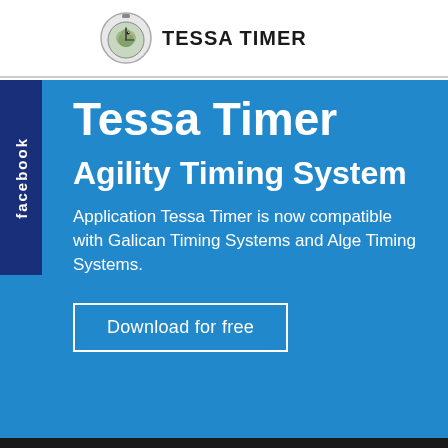TESSA TIMER
Tessa Timer
Agility Timing System
Application Tessa Timer is now compatible with Galican Timing Systems and Alge Timing Systems.
Download for free